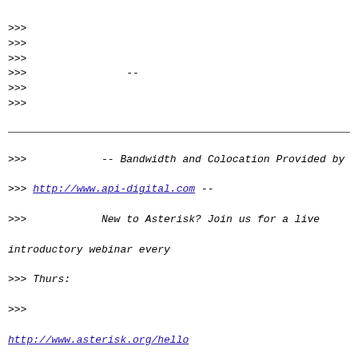>>>
>>>
>>>
>>>                --
>>>
>>>
>>>            -- Bandwidth and Colocation Provided by
>>> http://www.api-digital.com --
>>>            New to Asterisk? Join us for a live introductory webinar every
>>> Thurs:
>>>
http://www.asterisk.org/hello
>>>
>>>         asterisk-users mailing list
>>>         To UNSUBSCRIBE or update options visit:
>>>
http://lists.digium.com/mailman/listinfo/asterisk-users
>>>
>>>
>>>
>>>
>>>
>>>
>>> --
>>>
>>> Allan Porras
>>> http://allanPorras.com <http://www.AllanPorras.com>
Google Plus:
>>> http://goo.gl/BRkbX